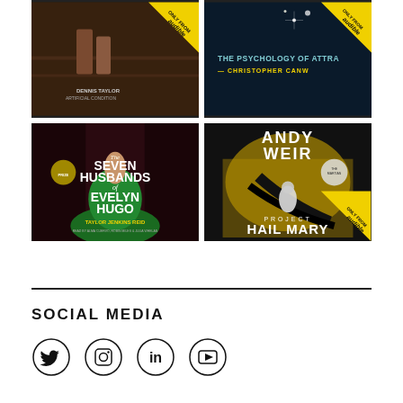[Figure (illustration): Grid of four Audible audiobook covers: top-left (Dennis Taylor / scifi), top-right (The Psychology of Attraction by Christopher Canwell), bottom-left (The Seven Husbands of Evelyn Hugo by Taylor Jenkins Reid), bottom-right (Project Hail Mary by Andy Weir). Each cover has an 'Only From Audible' yellow diagonal banner.]
SOCIAL MEDIA
[Figure (illustration): Four social media icons in circles: Twitter bird, Instagram camera, LinkedIn 'in', YouTube play button.]